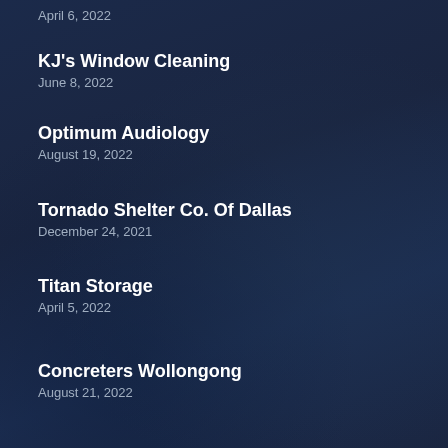April 6, 2022
KJ's Window Cleaning
June 8, 2022
Optimum Audiology
August 19, 2022
Tornado Shelter Co. Of Dallas
December 24, 2021
Titan Storage
April 5, 2022
Concreters Wollongong
August 21, 2022